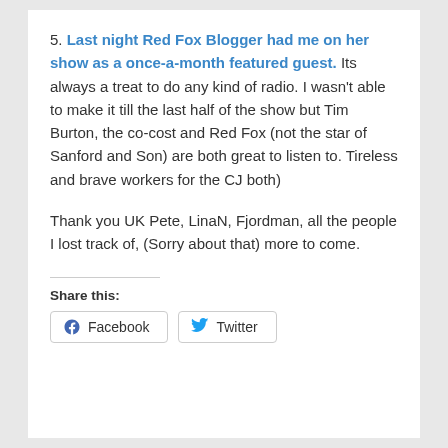5. Last night Red Fox Blogger had me on her show as a once-a-month featured guest. Its always a treat to do any kind of radio. I wasn't able to make it till the last half of the show but Tim Burton, the co-cost and Red Fox (not the star of Sanford and Son) are both great to listen to. Tireless and brave workers for the CJ both)
Thank you UK Pete, LinaN, Fjordman, all the people I lost track of, (Sorry about that) more to come.
Share this:
Facebook  Twitter